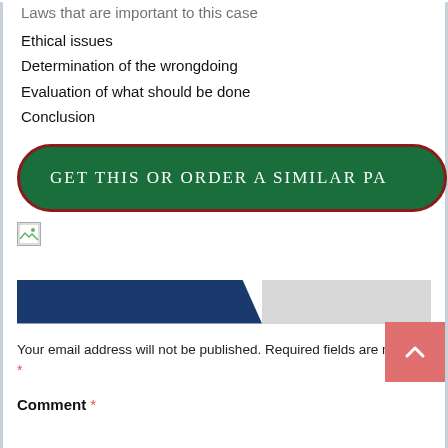Laws that are important to this case
Ethical issues
Determination of the wrongdoing
Evaluation of what should be done
Conclusion
[Figure (other): Green button with dark red border reading GET THIS OR ORDER A SIMILAR PA (truncated)]
[Figure (other): Broken image icon placeholder]
[Figure (other): Progress bar with navy blue left portion and grey right portion]
Your email address will not be published. Required fields are marked *
Comment *